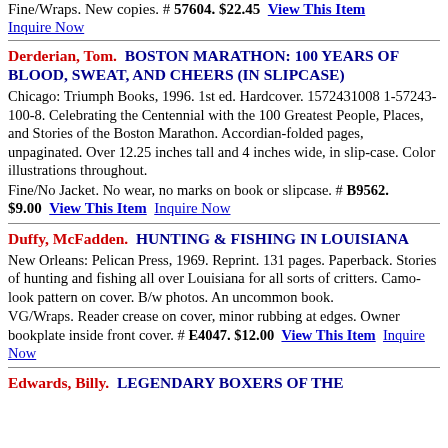Fine/Wraps. New copies. # 57604. $22.45   View This Item   Inquire Now
Derderian, Tom.  BOSTON MARATHON: 100 YEARS OF BLOOD, SWEAT, AND CHEERS (IN SLIPCASE)
Chicago: Triumph Books, 1996. 1st ed. Hardcover. 1572431008 1-57243-100-8. Celebrating the Centennial with the 100 Greatest People, Places, and Stories of the Boston Marathon. Accordian-folded pages, unpaginated. Over 12.25 inches tall and 4 inches wide, in slip-case. Color illustrations throughout.
Fine/No Jacket. No wear, no marks on book or slipcase. # B9562. $9.00   View This Item   Inquire Now
Duffy, McFadden.  HUNTING & FISHING IN LOUISIANA
New Orleans: Pelican Press, 1969. Reprint. 131 pages. Paperback. Stories of hunting and fishing all over Louisiana for all sorts of critters. Camo-look pattern on cover. B/w photos. An uncommon book.
VG/Wraps. Reader crease on cover, minor rubbing at edges. Owner bookplate inside front cover. # E4047. $12.00   View This Item   Inquire Now
Edwards, Billy.  LEGENDARY BOXERS OF THE